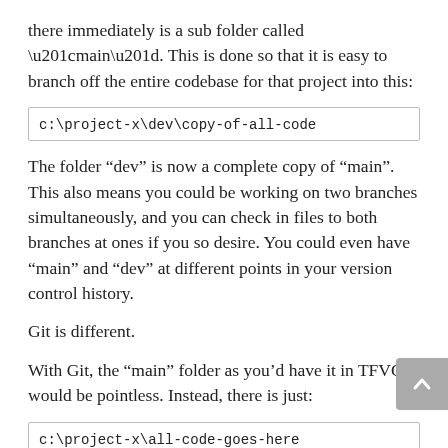there immediately is a sub folder called “main”. This is done so that it is easy to branch off the entire codebase for that project into this:
c:\project-x\dev\copy-of-all-code
The folder “dev” is now a complete copy of “main”. This also means you could be working on two branches simultaneously, and you can check in files to both branches at ones if you so desire. You could even have “main” and “dev” at different points in your version control history.
Git is different.
With Git, the “main” folder as you’d have it in TFVC would be pointless. Instead, there is just:
c:\project-x\all-code-goes-here
You can “branch off” any state of “project-x” at